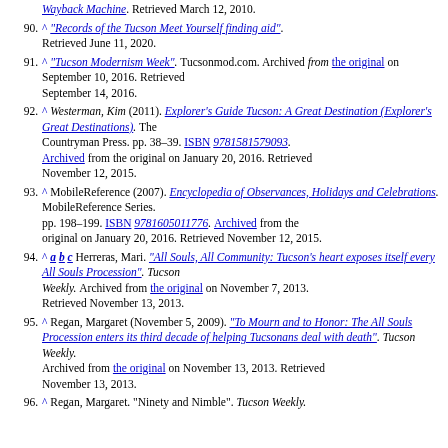90. ^ "Records of the Tucson Meet Yourself finding aid". Retrieved June 11, 2020.
91. ^ "Tucson Modernism Week". Tucsonmod.com. Archived from the original on September 10, 2016. Retrieved September 14, 2016.
92. ^ Westerman, Kim (2011). Explorer's Guide Tucson: A Great Destination (Explorer's Great Destinations). The Countryman Press. pp. 38–39. ISBN 9781581579093. Archived from the original on January 20, 2016. Retrieved November 12, 2015.
93. ^ MobileReference (2007). Encyclopedia of Observances, Holidays and Celebrations. MobileReference Series. pp. 198–199. ISBN 9781605011776. Archived from the original on January 20, 2016. Retrieved November 12, 2015.
94. ^ a b c Herreras, Mari. "All Souls, All Community: Tucson's heart exposes itself every All Souls Procession". Tucson Weekly. Archived from the original on November 7, 2013. Retrieved November 13, 2013.
95. ^ Regan, Margaret (November 5, 2009). "To Mourn and to Honor: The All Souls Procession enters its third decade of helping Tucsonans deal with death". Tucson Weekly. Archived from the original on November 13, 2013. Retrieved November 13, 2013.
96. ^ Regan, Margaret. "Ninety and Nimble". Tucson Weekly.